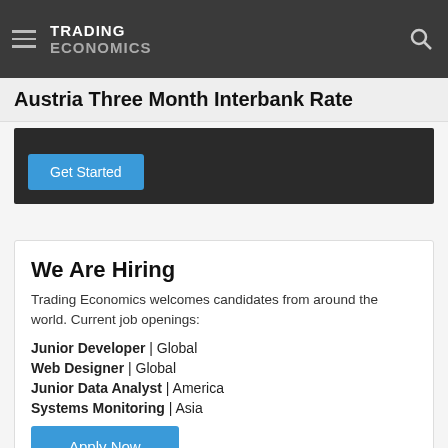TRADING ECONOMICS
Austria Three Month Interbank Rate
[Figure (other): Dark promo box with 'Get Started' button]
We Are Hiring
Trading Economics welcomes candidates from around the world. Current job openings:
Junior Developer | Global
Web Designer | Global
Junior Data Analyst | America
Systems Monitoring | Asia
Apply Now